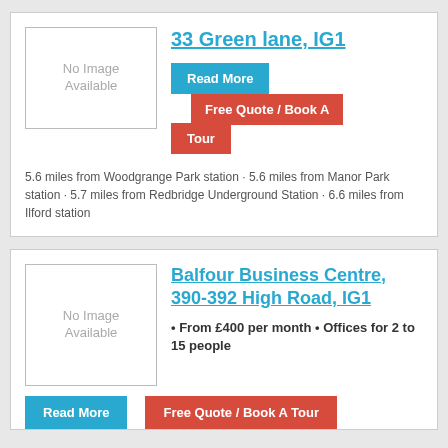33 Green lane, IG1
Read More
Free Quote / Book A Tour
5.6 miles from Woodgrange Park station · 5.6 miles from Manor Park station · 5.7 miles from Redbridge Underground Station · 6.6 miles from Ilford station
Balfour Business Centre, 390-392 High Road, IG1
• From £400 per month • Offices for 2 to 15 people
Read More
Free Quote / Book A Tour